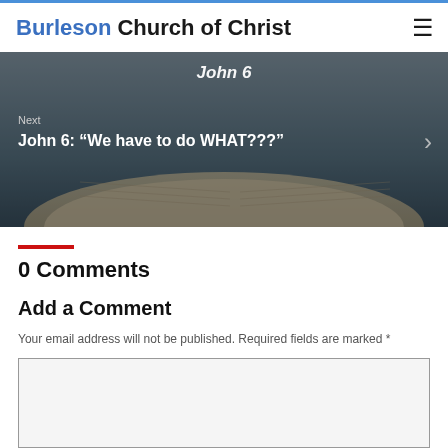Burleson Church of Christ
[Figure (photo): Hero banner showing an open Bible with overlay text 'John 6' and navigation element 'Next: John 6: We have to do WHAT???']
0 Comments
Add a Comment
Your email address will not be published. Required fields are marked *